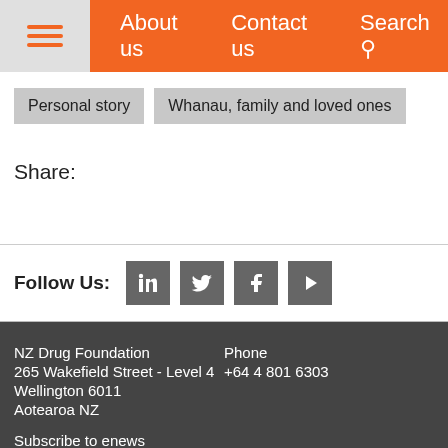About us   Contact us   Search
Personal story
Whanau, family and loved ones
Share:
Follow Us:
NZ Drug Foundation
265 Wakefield Street - Level 4
Wellington 6011
Aotearoa NZ
Phone
+64 4 801 6303
Subscribe to enews
Support us
Disclaimer Policy